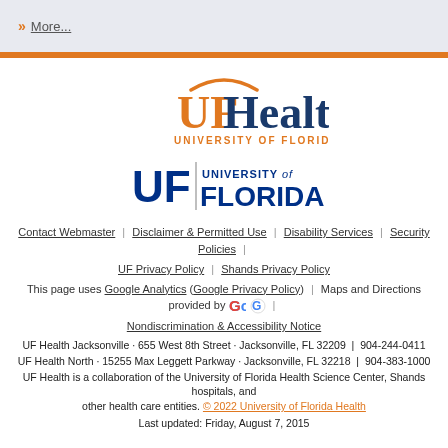More...
[Figure (logo): UF Health - University of Florida Health logo with orange arc above UF letters]
[Figure (logo): UF | University of Florida logo with blue U and F letters]
Contact Webmaster | Disclaimer & Permitted Use | Disability Services | Security Policies | UF Privacy Policy | Shands Privacy Policy
This page uses Google Analytics (Google Privacy Policy) | Maps and Directions provided by Google |
Nondiscrimination & Accessibility Notice
UF Health Jacksonville · 655 West 8th Street · Jacksonville, FL 32209 | 904-244-0411
UF Health North · 15255 Max Leggett Parkway · Jacksonville, FL 32218 | 904-383-1000
UF Health is a collaboration of the University of Florida Health Science Center, Shands hospitals, and other health care entities. © 2022 University of Florida Health
Last updated: Friday, August 7, 2015